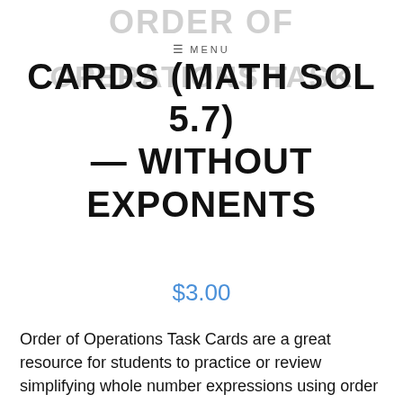ORDER OF OPERATIONS TASK
CARDS (MATH SOL 5.7) — WITHOUT EXPONENTS
$3.00
Order of Operations Task Cards are a great resource for students to practice or review simplifying whole number expressions using order of operations without exponents. This resource includes 28 task cards, a student response worksheet, and an answer key.